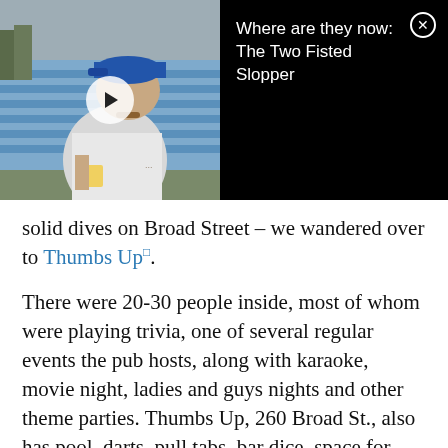[Figure (photo): Video thumbnail showing a man in a sleeveless white shirt and blue baseball cap sitting at blue bleachers outdoors holding a drink, with a white play button overlay. Black panel to the right shows video title 'Where are they now: The Two Fisted Slopper' with a close/X button.]
solid dives on Broad Street – we wandered over to Thumbs Up□.
There were 20-30 people inside, most of whom were playing trivia, one of several regular events the pub hosts, along with karaoke, movie night, ladies and guys nights and other theme parties. Thumbs Up, 260 Broad St., also has pool, darts, pull tabs, bar dice, space for dancing (more common on the weekends) and a friendly staff who let us play beer pong on the back stage.